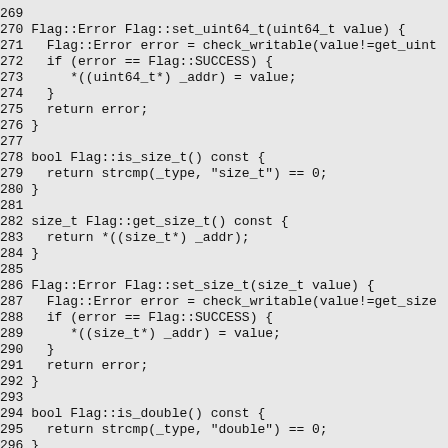269
270 Flag::Error Flag::set_uint64_t(uint64_t value) {
271   Flag::Error error = check_writable(value!=get_uint
272   if (error == Flag::SUCCESS) {
273      *((uint64_t*) _addr) = value;
274   }
275   return error;
276 }
277
278 bool Flag::is_size_t() const {
279   return strcmp(_type, "size_t") == 0;
280 }
281
282 size_t Flag::get_size_t() const {
283   return *((size_t*) _addr);
284 }
285
286 Flag::Error Flag::set_size_t(size_t value) {
287   Flag::Error error = check_writable(value!=get_size
288   if (error == Flag::SUCCESS) {
289      *((size_t*) _addr) = value;
290   }
291   return error;
292 }
293
294 bool Flag::is_double() const {
295   return strcmp(_type, "double") == 0;
296 }
297
298 double Flag::get_double() const {